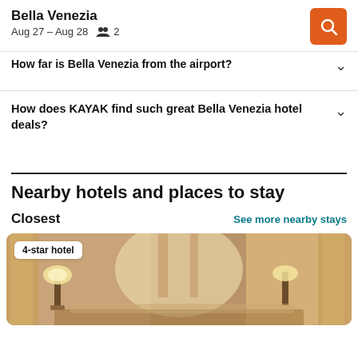Bella Venezia | Aug 27 – Aug 28 | 2 guests | Search button
How far is Bella Venezia from the airport?
How does KAYAK find such great Bella Venezia hotel deals?
Nearby hotels and places to stay
Closest
See more nearby stays
[Figure (photo): Interior hotel room photo with lamp and curtains, labeled '4-star hotel']